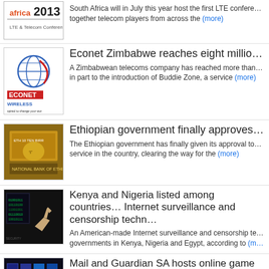[Figure (photo): africa 2013 logo/banner]
South Africa will in July this year host the first LTE conference, bringing together telecom players from across the (more)
[Figure (logo): Econet Wireless logo - globe with red swoosh]
Econet Zimbabwe reaches eight million su…
A Zimbabwean telecoms company has reached more than… in part to the introduction of Buddie Zone, a service (more)
[Figure (photo): Ethiopian currency banknote image]
Ethiopian government finally approves mo…
The Ethiopian government has finally given its approval to… service in the country, clearing the way for the (more)
[Figure (photo): Dark image with hand pointing at computer screen - surveillance theme]
Kenya and Nigeria listed among countries… Internet surveillance and censorship techn…
An American-made Internet surveillance and censorship te… governments in Kenya, Nigeria and Egypt, according to (m…
[Figure (photo): Multiple computer screens/monitors in dark setting]
Mail and Guardian SA hosts online game c… session